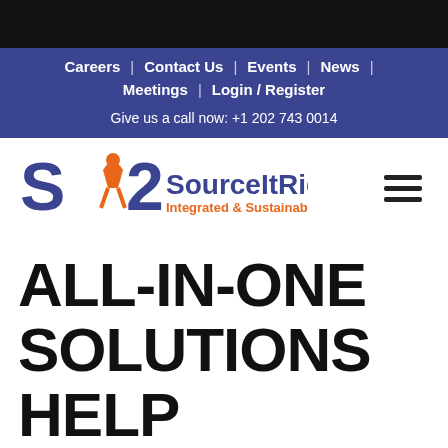Careers | Contact Us | Events | News | Meetings | Login / Register
Give us a call now: +1 202 743 0014
[Figure (logo): SourceItRight logo — stylized S2 with orange figure, blue text 'SourceItRight', orange subtitle 'Integrated & Sustainable Solutions']
ALL-IN-ONE SOLUTIONS HELP DELIVER ONGOING